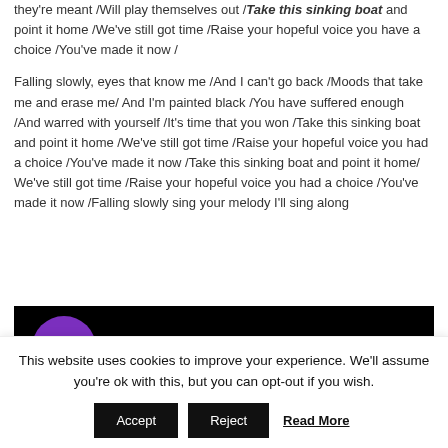they're meant /Will play themselves out /Take this sinking boat and point it home /We've still got time /Raise your hopeful voice you have a choice /You've made it now /
Falling slowly, eyes that know me /And I can't go back /Moods that take me and erase me/ And I'm painted black /You have suffered enough /And warred with yourself /It's time that you won /Take this sinking boat and point it home /We've still got time /Raise your hopeful voice you had a choice /You've made it now /Take this sinking boat and point it home/ We've still got time /Raise your hopeful voice you had a choice /You've made it now /Falling slowly sing your melody I'll sing along
[Figure (screenshot): Video thumbnail with black background showing a purple circle avatar with letter G and text 'Glen Hansard, Marketa Ir' with a three-dot menu icon]
This website uses cookies to improve your experience. We'll assume you're ok with this, but you can opt-out if you wish.